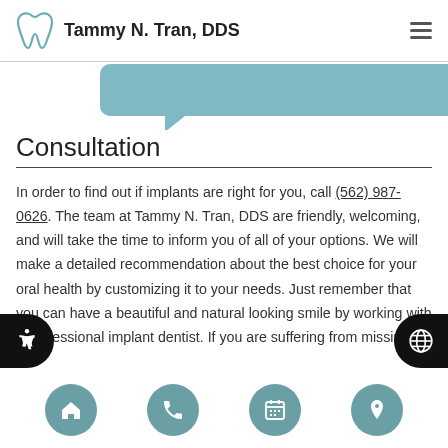Tammy N. Tran, DDS
[Figure (illustration): Green speech bubble / chat bubble shape pointing down-left, partially visible at top of content area]
Consultation
In order to find out if implants are right for you, call (562) 987-0626. The team at Tammy N. Tran, DDS are friendly, welcoming, and will take the time to inform you of all of your options. We will make a detailed recommendation about the best choice for your oral health by customizing it to your needs. Just remember that you can have a beautiful and natural looking smile by working with a professional implant dentist. If you are suffering from missing
Navigation: Home, Phone, Calendar, Location